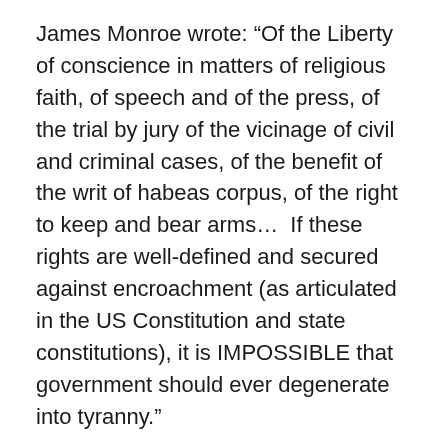James Monroe wrote: “Of the Liberty of conscience in matters of religious faith, of speech and of the press, of the trial by jury of the vicinage of civil and criminal cases, of the benefit of the writ of habeas corpus, of the right to keep and bear arms…  If these rights are well-defined and secured against encroachment (as articulated in the US Constitution and state constitutions), it is IMPOSSIBLE that government should ever degenerate into tyranny.”
Finally, former US Supreme Court Justice Louis Brandeis wrote: “The greatest dangers to liberty lurk in insidious encroachment by men of zeal, well-meaning but without understanding.”
Fidelity and loyalty to the US Constitution is so important, that an oath is taken by the President of the United States, the representatives in the US Congress, the federal